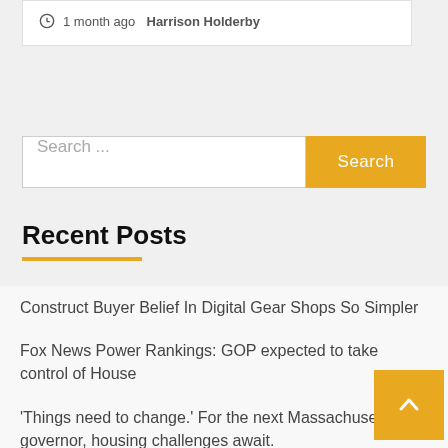1 month ago  Harrison Holderby
Search ...
Recent Posts
Construct Buyer Belief In Digital Gear Shops So Simpler
Fox News Power Rankings: GOP expected to take control of House
'Things need to change.' For the next Massachusetts governor, housing challenges await.
Thinking inside the box